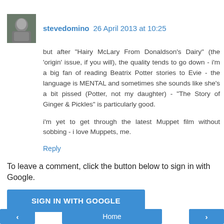[Figure (photo): Small avatar photo of a person, used as commenter profile picture]
stevedomino  26 April 2013 at 10:25
but after "Hairy McLary From Donaldson's Dairy" (the 'origin' issue, if you will), the quality tends to go down - i'm a big fan of reading Beatrix Potter stories to Evie - the language is MENTAL and sometimes she sounds like she's a bit pissed (Potter, not my daughter) - "The Story of Ginger & Pickles" is particularly good.

i'm yet to get through the latest Muppet film without sobbing - i love Muppets, me.
Reply
To leave a comment, click the button below to sign in with Google.
SIGN IN WITH GOOGLE
< Home >